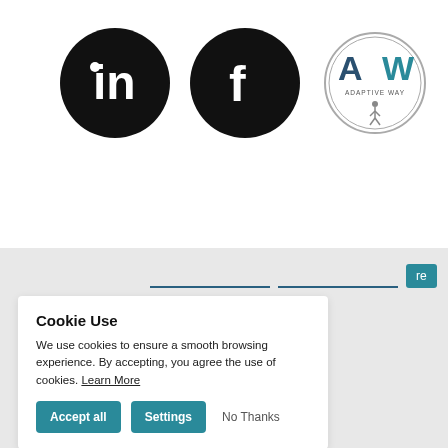[Figure (logo): Hamburger menu icon with three teal horizontal lines]
[Figure (logo): LinkedIn logo: black circle with white 'in' text]
[Figure (logo): Facebook logo: black circle with white 'f' text]
[Figure (logo): Adaptive Way (AW) logo: circular logo with AW letters and 'ADAPTIVE WAY' text and walking figure]
[Figure (screenshot): Search bar area with two input fields and a teal button partially visible with 're' text]
Cookie Use
We use cookies to ensure a smooth browsing experience. By accepting, you agree the use of cookies. Learn More
Accept all
Settings
No Thanks